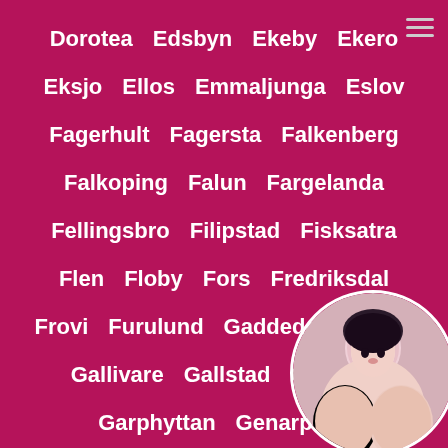Dorotea  Edsbyn  Ekeby  Ekero
Eksjo  Ellos  Emmaljunga  Eslov
Fagerhult  Fagersta  Falkenberg
Falkoping  Falun  Fargelanda
Fellingsbro  Filipstad  Fisksatra
Flen  Floby  Fors  Fredriksdal
Frovi  Furulund  Gaddede  Gagnef
Gallivare  Gallstad  Gammel...
Garphyttan  Genarp  G...
Glimakra  Gnesta  Gnos...
[Figure (photo): Circular profile photo of a woman in bottom-right corner, partially cropped]